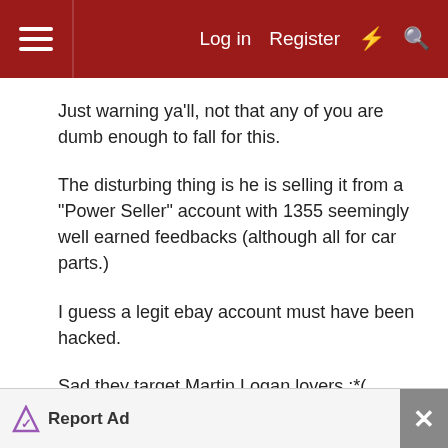Log in  Register
Just warning ya'll, not that any of you are dumb enough to fall for this.
The disturbing thing is he is selling it from a "Power Seller" account with 1355 seemingly well earned feedbacks (although all for car parts.)
I guess a legit ebay account must have been hacked.
Sad they target Martin Logan lovers :*(
(I didn't post the link, but you'll know them if you see them. Just say NO to $700 Odyssey Martin Logan's
Report Ad